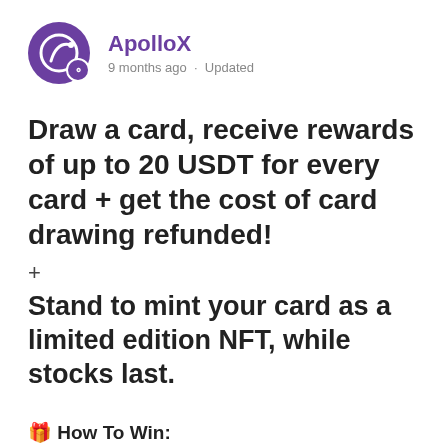[Figure (logo): ApolloX purple circular logo with a stylized rocket/pencil icon and a small purple badge with person icon at bottom right]
ApolloX
9 months ago · Updated
Draw a card, receive rewards of up to 20 USDT for every card + get the cost of card drawing refunded!
+
Stand to mint your card as a limited edition NFT, while stocks last.
🎁 How To Win:
1. Participate in our latest Draw & Earn activity 🔗